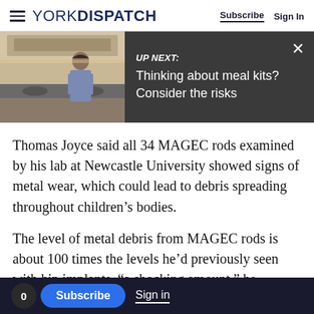YORK DISPATCH — Subscribe | Sign In
[Figure (screenshot): UP NEXT banner with kitchen/cooking image on the left. Text reads: UP NEXT: Thinking about meal kits? Consider the risks. Close button (×) at top right.]
Thomas Joyce said all 34 MAGEC rods examined by his lab at Newcastle University showed signs of metal wear, which could lead to debris spreading throughout children's bodies.
The level of metal debris from MAGEC rods is about 100 times the levels he'd previously seen with hip implants, "a shocking amount," he reported. Joyce has worked as an expert witness for lawyers suing metal hip makers. He donates
0  Subscribe  Sign in